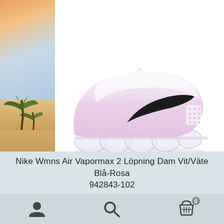[Figure (photo): Left side background: beach/tropical scene with sky, palm trees and sandy shore]
[Figure (photo): Nike Wmns Air Vapormax 2 sneaker in white/pink/lavender colorway with black swoosh logo, shown in side profile on white background]
Nike Wmns Air Vapormax 2 Löpning Dam Vit/Väte Blå-Rosa
942843-102
[Figure (infographic): Bottom navigation bar with user/profile icon, search/magnifier icon, and shopping cart icon with badge showing '0']